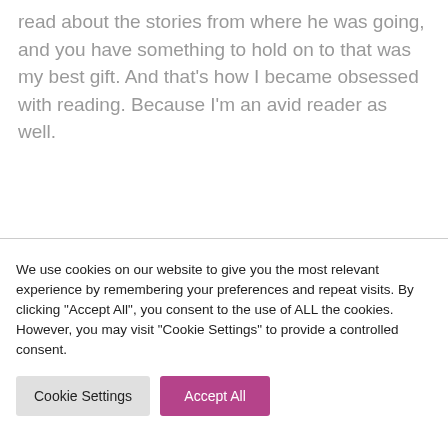read about the stories from where he was going, and you have something to hold on to that was my best gift. And that's how I became obsessed with reading. Because I'm an avid reader as well.
We use cookies on our website to give you the most relevant experience by remembering your preferences and repeat visits. By clicking "Accept All", you consent to the use of ALL the cookies. However, you may visit "Cookie Settings" to provide a controlled consent.